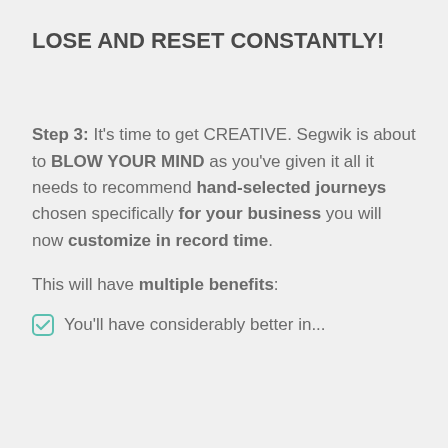LOSE AND RESET CONSTANTLY!
Step 3: It's time to get CREATIVE. Segwik is about to BLOW YOUR MIND as you've given it all it needs to recommend hand-selected journeys chosen specifically for your business you will now customize in record time.
This will have multiple benefits:
You'll have considerably better in...